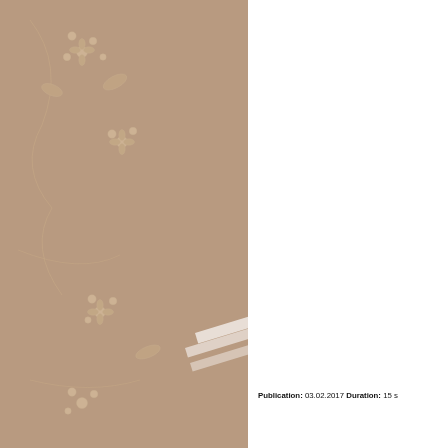[Figure (illustration): Document page layout with tan/brown floral background on left panel, white content areas top and bottom, a tan horizontal band in the middle, and diagonal tape strips. Partial text visible at bottom right.]
Publication: 03.02.2017 Duration: 15 s